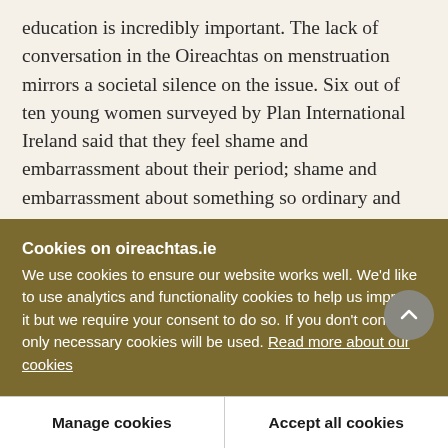education is incredibly important. The lack of conversation in the Oireachtas on menstruation mirrors a societal silence on the issue. Six out of ten young women surveyed by Plan International Ireland said that they feel shame and embarrassment about their period; shame and embarrassment about something so ordinary and natural.
The stigma surrounding periods and the cost of period products have very real consequences. Plan International Ireland's survey found that 61% of Irish
Cookies on oireachtas.ie
We use cookies to ensure our website works well. We'd like to use analytics and functionality cookies to help us improve it but we require your consent to do so. If you don't consent, only necessary cookies will be used. Read more about our cookies
Manage cookies
Accept all cookies